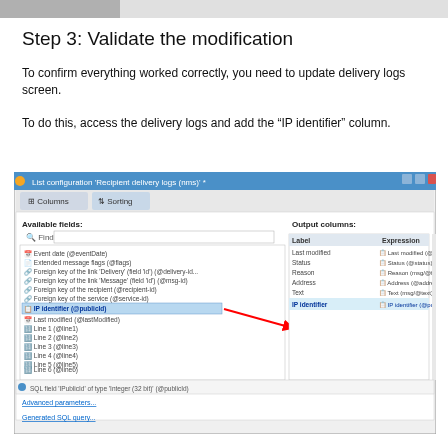Step 3: Validate the modification
To confirm everything worked correctly, you need to update delivery logs screen.
To do this, access the delivery logs and add the “IP identifier” column.
[Figure (screenshot): Screenshot of 'List configuration Recipient delivery logs (nms)' dialog showing Available fields panel with IP identifier (@publicId) highlighted and a red arrow pointing to the Output columns panel where IP identifier is listed with expression IP identifier (@publicId).]